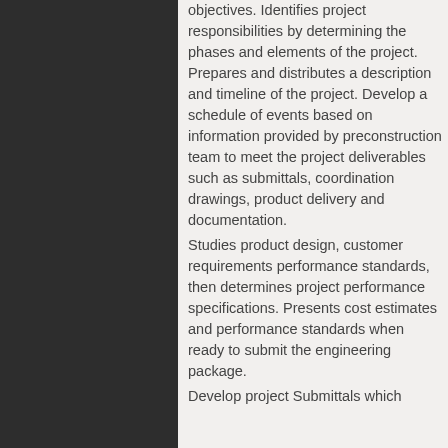objectives. Identifies project responsibilities by determining the phases and elements of the project. Prepares and distributes a description and timeline of the project. Develop a schedule of events based on information provided by preconstruction team to meet the project deliverables such as submittals, coordination drawings, product delivery and documentation.
Studies product design, customer requirements performance standards, then determines project performance specifications. Presents cost estimates and performance standards when ready to submit the engineering package.
Develop project Submittals which